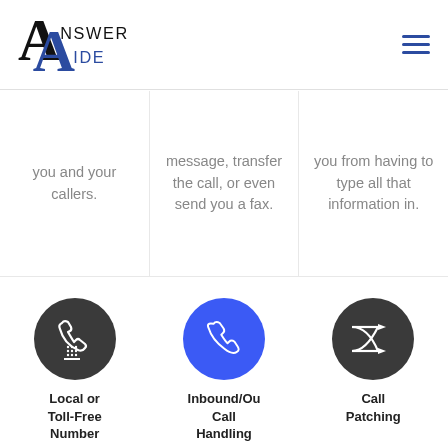[Figure (logo): Answer Aide logo with stylized A letterform in black and blue]
you and your callers.
message, transfer the call, or even send you a fax.
you from having to type all that information in.
[Figure (illustration): Dark circle icon with fax/telephone machine symbol]
[Figure (illustration): Blue circle icon with telephone handset symbol]
[Figure (illustration): Dark circle icon with call patching/shuffle arrows symbol]
Local or Toll-Free Number
Inbound/Ou Call Handling
Call Patching